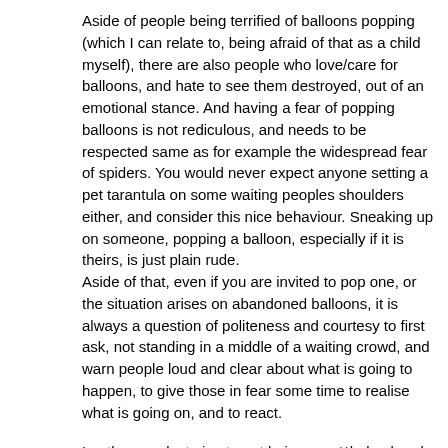Aside of people being terrified of balloons popping (which I can relate to, being afraid of that as a child myself), there are also people who love/care for balloons, and hate to see them destroyed, out of an emotional stance. And having a fear of popping balloons is not rediculous, and needs to be respected same as for example the widespread fear of spiders. You would never expect anyone setting a pet tarantula on some waiting peoples shoulders either, and consider this nice behaviour. Sneaking up on someone, popping a balloon, especially if it is theirs, is just plain rude.
Aside of that, even if you are invited to pop one, or the situation arises on abandoned balloons, it is always a question of politeness and courtesy to first ask, not standing in a middle of a waiting crowd, and warn people loud and clear about what is going to happen, to give those in fear some time to realise what is going on, and to react.
In other words, trying to not being an a**hole already goes a long way, and should mostly solve this problem. Even gave me some friendly thanks from "non-poppers" afterwards for warning people. I could live out that role as manic balloon-shredding rodent I am infamous for, they were not surprised by it, and in the end, everyone got along nicely. This is where this pic came from (there was even a ring of onlookers gathering before the bang):
http://media.furcon.de/Eurofurence/ef16/Skeppo/tn/IMG_9404.JPG
(http://media.furcon.de/Eurofurence/ef16/Skeppo/tn/IMG_9404.JPG)
If people remember that they are not alone on the con, you're